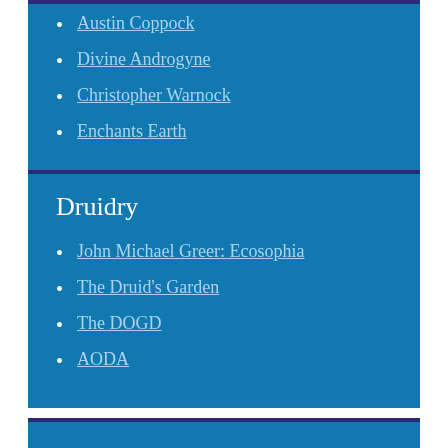Austin Coppock
Divine Androgyne
Christopher Warnock
Enchants Earth
Druidry
John Michael Greer: Ecosophia
The Druid's Garden
The DOGD
AODA